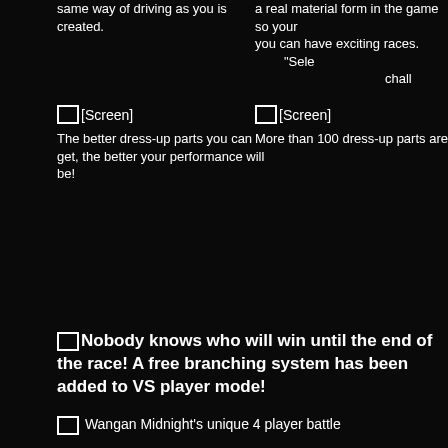same way of driving as you is created.
a real material form in the game so you can have exciting races. "Sele chall
[Figure (screenshot): Screen placeholder box left]
[Screen]
[Figure (screenshot): Screen placeholder box right]
[Screen]
The better dress-up parts you can get, the better your performance will be!
More than 100 dress-up parts are
Nobody knows who will win until the end of the race! A free branching system has been added to VS player mode!
[Figure (screenshot): Screen placeholder box bottom]
Wangan Midnight's unique 4 player battle